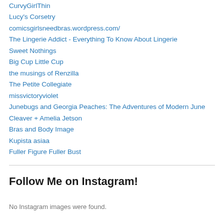CurvyGirlThin
Lucy's Corsetry
comicsgirlsneedbras.wordpress.com/
The Lingerie Addict - Everything To Know About Lingerie
Sweet Nothings
Big Cup Little Cup
the musings of Renzilla
The Petite Collegiate
missvictoryviolet
Junebugs and Georgia Peaches: The Adventures of Modern June
Cleaver + Amelia Jetson
Bras and Body Image
Kupista asiaa
Fuller Figure Fuller Bust
Follow Me on Instagram!
No Instagram images were found.